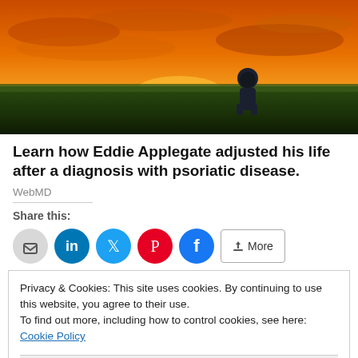[Figure (photo): Silhouette of a person sitting in a field at sunset with orange and yellow sky]
Learn how Eddie Applegate adjusted his life after a diagnosis with psoriatic disease.
WebMD
Share this:
[Figure (infographic): Social share buttons: email, LinkedIn, Twitter, Pinterest, Facebook, and More]
Privacy & Cookies: This site uses cookies. By continuing to use this website, you agree to their use. To find out more, including how to control cookies, see here: Cookie Policy
Close and accept
[Figure (photo): Two small thumbnail images at the bottom of the page]